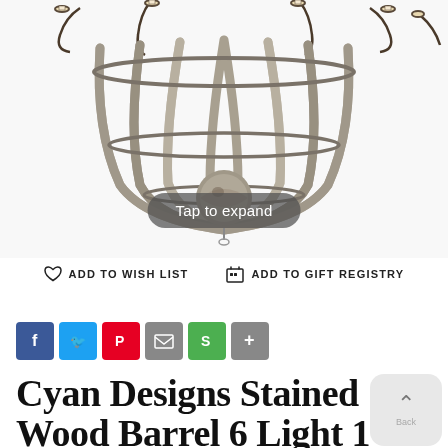[Figure (photo): Partial view of a Cyan Designs Stained Wood Barrel 6-light chandelier with curved wooden slats and metal candelabra arms on a white background. A 'Tap to expand' button overlay is visible.]
Tap to expand
♡ ADD TO WISH LIST     🎁 ADD TO GIFT REGISTRY
[Figure (other): Social sharing icons: Facebook, Twitter, Pinterest, Email, Shareaholic, More]
Cyan Designs Stained Wood Barrel 6 Light 1